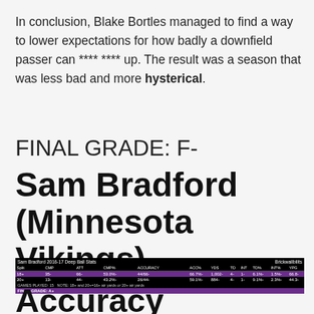In conclusion, Blake Bortles managed to find a way to lower expectations for how badly a downfield passer can **** **** up. The result was a season that was less bad and more hysterical.
FINAL GRADE: F-
Sam Bradford (Minnesota Vikings)
| Split | CMP | ATT | CMP% | ACCURACY | ACC% | YDS | TD | INT | TD% | INT% | YPG |
| --- | --- | --- | --- | --- | --- | --- | --- | --- | --- | --- | --- |
| 18+ | 35- | 66- | 53.0%- | 44/66- | 66.7%- | 1,002- | 4- | 1- | 6.1%- | 1.5%- | 66.8- |
| 20+ | 13- | 44- | 43.2%- | 26/44- | 59.1%- | 884- | 4- | 1- | 9.1%- | 2.3%- | 44.3- |
Accuracy Percentage On